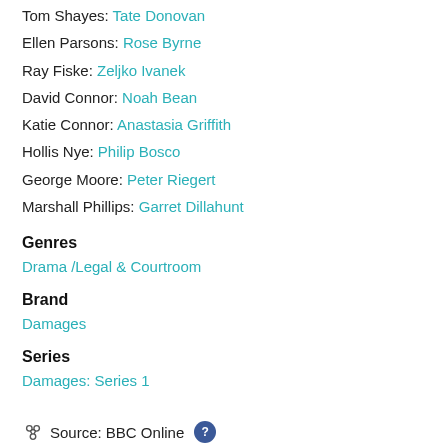Tom Shayes: Tate Donovan
Ellen Parsons: Rose Byrne
Ray Fiske: Zeljko Ivanek
David Connor: Noah Bean
Katie Connor: Anastasia Griffith
Hollis Nye: Philip Bosco
George Moore: Peter Riegert
Marshall Phillips: Garret Dillahunt
Genres
Drama / Legal & Courtroom
Brand
Damages
Series
Damages: Series 1
Source: BBC Online